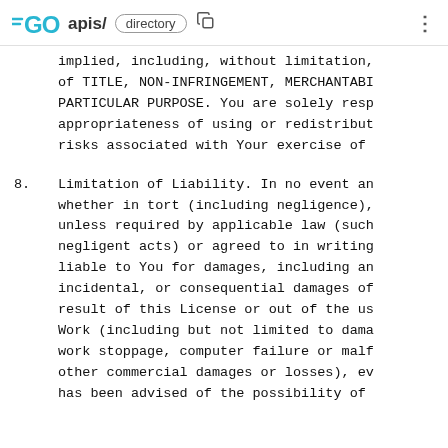GO apis/ directory
implied, including, without limitation,
of TITLE, NON-INFRINGEMENT, MERCHANTABI
PARTICULAR PURPOSE. You are solely resp
appropriateness of using or redistribut
risks associated with Your exercise of
8. Limitation of Liability. In no event an
whether in tort (including negligence),
unless required by applicable law (such
negligent acts) or agreed to in writing
liable to You for damages, including an
incidental, or consequential damages of
result of this License or out of the us
Work (including but not limited to dama
work stoppage, computer failure or malf
other commercial damages or losses), ev
has been advised of the possibility of